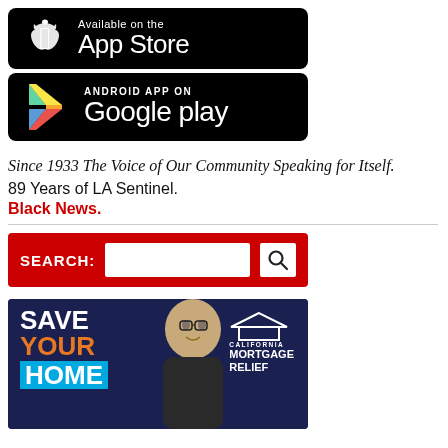[Figure (logo): App Store download button with Apple logo - black background]
[Figure (logo): Google Play download button with Play logo - black background]
Since 1933 The Voice of Our Community Speaking for Itself.
89 Years of LA Sentinel.
Black News.
[Figure (screenshot): Red search bar with SEARCH: label and text input field and magnifying glass icon]
[Figure (photo): SAVE YOUR HOME - California Mortgage Relief advertisement banner with man smiling]